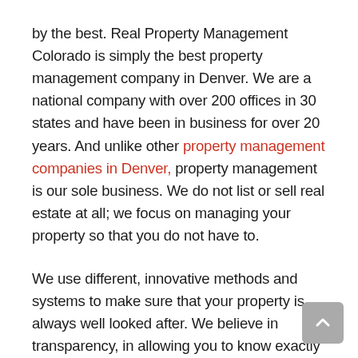by the best. Real Property Management Colorado is simply the best property management company in Denver. We are a national company with over 200 offices in 30 states and have been in business for over 20 years. And unlike other property management companies in Denver, property management is our sole business. We do not list or sell real estate at all; we focus on managing your property so that you do not have to.

We use different, innovative methods and systems to make sure that your property is always well looked after. We believe in transparency, in allowing you to know exactly what is happening with your property and we manage all of this online, allowing you, the property owner, immediate access to financial information such as tenant payment history, as well as reports detailing work order and